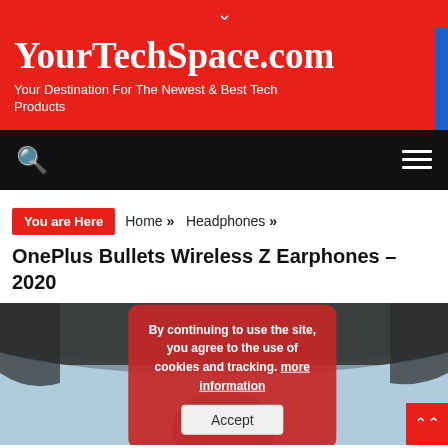YourTechSpace.com — Your Destination For The Newest & Best Tech Products
YourTechSpace.com
Your Destination For The Newest & Best Tech Products
You are Here  Home » Headphones »
OnePlus Bullets Wireless Z Earphones – 2020
[Figure (photo): Photo of a person with dark hair wearing earphones, with a car roof visible against a blue sky background]
By continuing to use the site, you agree to the use of cookies and tracking. more information